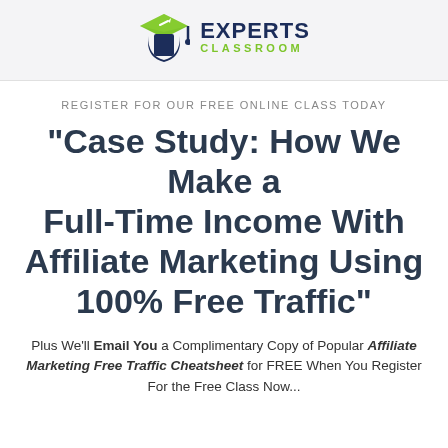[Figure (logo): Experts Classroom logo with graduation cap icon, dark blue 'EXPERTS' text and green 'CLASSROOM' text below]
REGISTER FOR OUR FREE ONLINE CLASS TODAY
"Case Study: How We Make a Full-Time Income With Affiliate Marketing Using 100% Free Traffic"
Plus We'll Email You a Complimentary Copy of Popular Affiliate Marketing Free Traffic Cheatsheet for FREE When You Register For the Free Class Now...